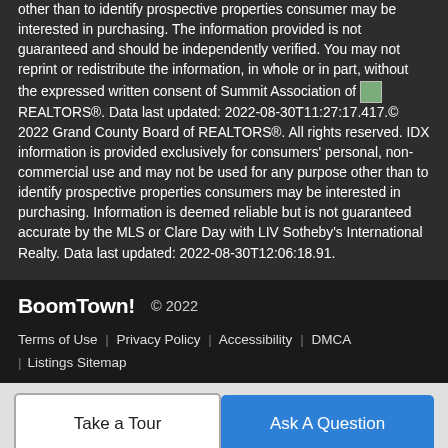other than to identify prospective properties consumer may be interested in purchasing. The information provided is not guaranteed and should be independently verified. You may not reprint or redistribute the information, in whole or in part, without the expressed written consent of Summit Association of REALTORS®. Data last updated: 2022-08-30T11:27:17.417.© 2022 Grand County Board of REALTORS®. All rights reserved. IDX information is provided exclusively for consumers' personal, non-commercial use and may not be used for any purpose other than to identify prospective properties consumers may be interested in purchasing. Information is deemed reliable but is not guaranteed accurate by the MLS or Clare Day with LIV Sotheby's International Realty. Data last updated: 2022-08-30T12:06:18.91.
BoomTown! © 2022
Terms of Use | Privacy Policy | Accessibility | DMCA | Listings Sitemap